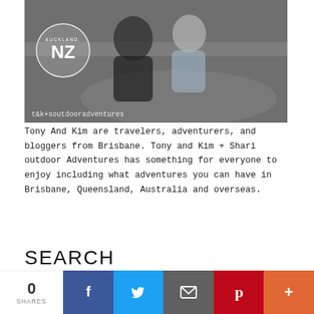[Figure (photo): Two people (Tony and Kim) posing together, with an Auckland, NZ circular logo overlay and watermark text 't&k+soutdooradventures']
Tony And Kim are travelers, adventurers, and bloggers from Brisbane. Tony and Kim + Shari outdoor Adventures has something for everyone to enjoy including what adventures you can have in Brisbane, Queensland, Australia and overseas.
SEARCH